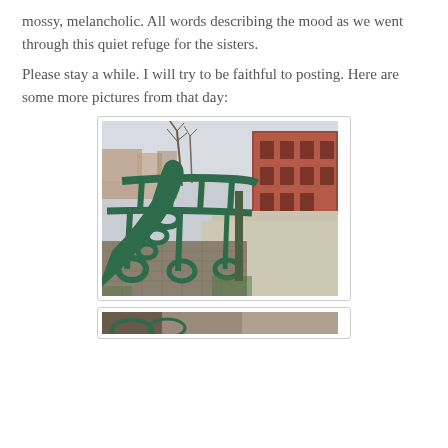mossy, melancholic. All words describing the mood as we went through this quiet refuge for the sisters.
Please stay a while. I will try to be faithful to posting. Here are some more pictures from that day:
[Figure (photo): Close-up photograph of dark green ornate cast iron park benches with decorative scrollwork armrests, with a cobblestone path and red brick buildings visible in the background, taken in what appears to be a European city.]
[Figure (photo): Partially visible second photograph at the bottom of the page.]